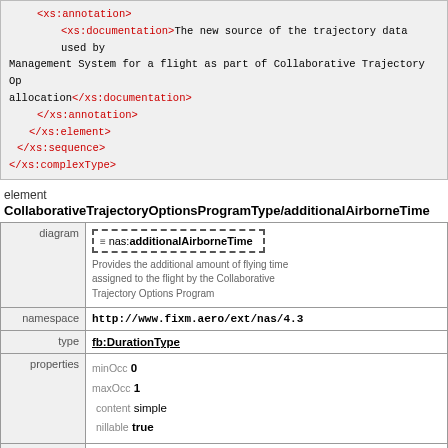<xs:annotation> <xs:documentation>The new source of the trajectory data used by Management System for a flight as part of Collaborative Trajectory Options allocation</xs:documentation> </xs:annotation> </xs:element> </xs:sequence> </xs:complexType>
element
CollaborativeTrajectoryOptionsProgramType/additionalAirborneTime
|  |  |
| --- | --- |
| diagram | nas:additionalAirborneTime / Provides the additional amount of flying time assigned to the flight by the Collaborative Trajectory Options Program |
| namespace | http://www.fixm.aero/ext/nas/4.3 |
| type | fb:DurationType |
| properties | minOcc 0
maxOcc 1
content simple
nillable true |